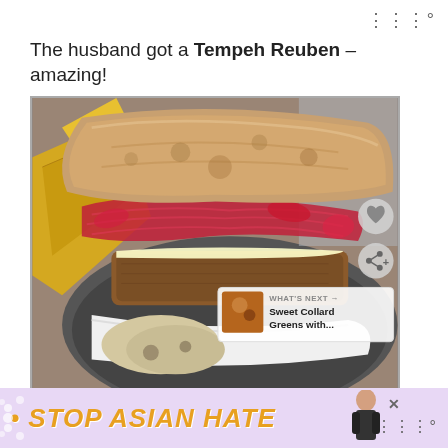⠿°
The husband got a Tempeh Reuben – amazing!
[Figure (photo): Close-up photo of a Tempeh Reuben sandwich in a bowl, showing toasted bread on top with red pickled onions, vegan cheese, and tempeh patty, with chips visible on the side. A 'What's Next' overlay shows Sweet Collard Greens with... A heart button and share button are visible on the right edge.]
STOP ASIAN HATE